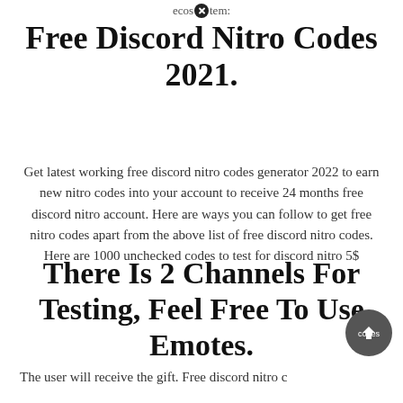ecosystem:
Free Discord Nitro Codes 2021.
Get latest working free discord nitro codes generator 2022 to earn new nitro codes into your account to receive 24 months free discord nitro account. Here are ways you can follow to get free nitro codes apart from the above list of free discord nitro codes. Here are 1000 unchecked codes to test for discord nitro 5$
There Is 2 Channels For Testing, Feel Free To Use Emotes.
The user will receive the gift. Free discord nitro codes list. [get free discord nitro codes 2021 method working valid codes # only working method of getting discord